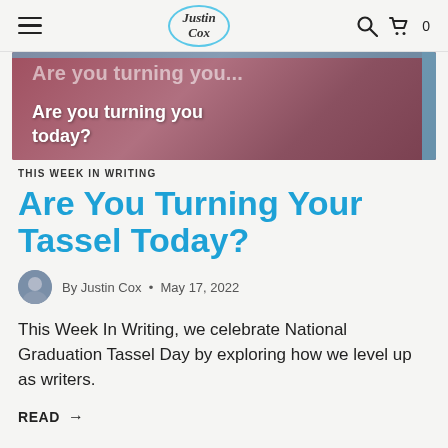Justin Cox – site navigation with hamburger menu, logo, search and cart icons
[Figure (photo): Hero image with a person from behind, reddish-purple tinted, with white bold text overlay reading 'Are you turning your today?' (partial headline)]
THIS WEEK IN WRITING
Are You Turning Your Tassel Today?
By Justin Cox  •  May 17, 2022
This Week In Writing, we celebrate National Graduation Tassel Day by exploring how we level up as writers.
READ →